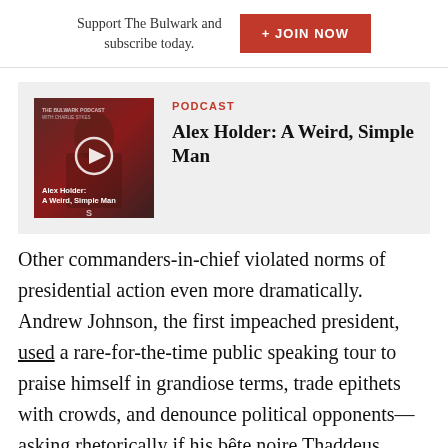Support The Bulwark and subscribe today.
[Figure (other): Red JOIN NOW button with plus sign]
[Figure (other): Podcast thumbnail for Alex Holder: A Weird, Simple Man with play button overlay]
PODCAST
Alex Holder: A Weird, Simple Man
Other commanders-in-chief violated norms of presidential action even more dramatically. Andrew Johnson, the first impeached president, used a rare-for-the-time public speaking tour to praise himself in grandiose terms, trade epithets with crowds, and denounce political opponents—asking rhetorically if his bête noire Thaddeus